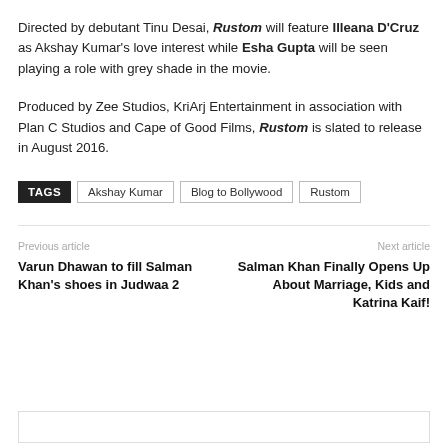Directed by debutant Tinu Desai, Rustom will feature Illeana D'Cruz as Akshay Kumar's love interest while Esha Gupta will be seen playing a role with grey shade in the movie.
Produced by Zee Studios, KriArj Entertainment in association with Plan C Studios and Cape of Good Films, Rustom is slated to release in August 2016.
TAGS  Akshay Kumar  Blog to Bollywood  Rustom
Previous article
Varun Dhawan to fill Salman Khan's shoes in Judwaa 2
Next article
Salman Khan Finally Opens Up About Marriage, Kids and Katrina Kaif!